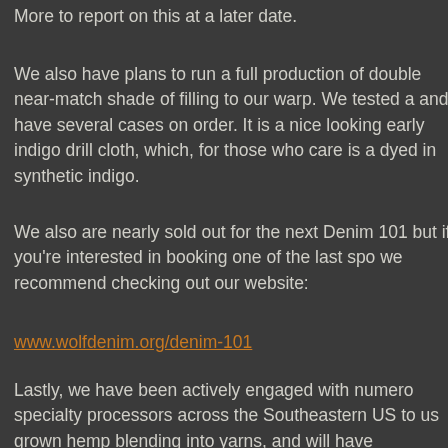some new constructions in about a month to one m... More to report on this at a later date.
We also have plans to run a full production of double near-match shade of filling to our warp. We tested a and have several cases on order. It is a nice looking early indigo drill cloth, which, for those who care is a dyed in synthetic indigo.
We also are nearly sold out for the next Denim 101 but if you're interested in booking one of the last spo we recommend checking out our website:
www.wolfdenim.org/denim-101
Lastly, we have been actively engaged with numero specialty processors across the Southeastern US to us grown hemp blending into yarns, and will have